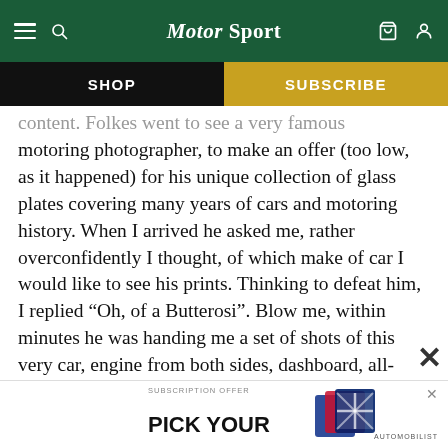Motor Sport
SHOP | SUBSCRIBE
content.Folkes went to see a very famous motoring photographer, to make an offer (too low, as it happened) for his unique collection of glass plates covering many years of cars and motoring history. When I arrived he asked me, rather overconfidently I thought, of which make of car I would like to see his prints. Thinking to defeat him, I replied “Oh, of a Butterosi”. Blow me, within minutes he was handing me a set of shots of this very car, engine from both sides, dashboard, all-round views of it, etc… (his negatives are now in the National Motor Muse
[Figure (screenshot): Subscription offer ad banner: 'PICK YOUR' with card images and Automobilist logo]